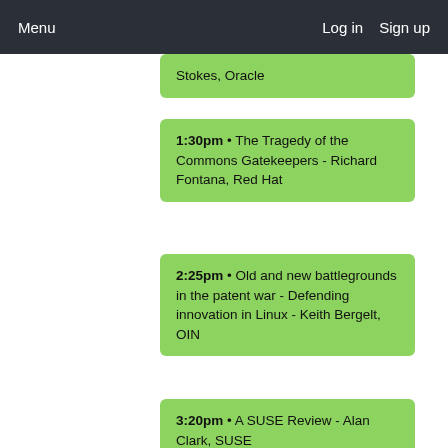Menu    Log in  Sign up
Stokes, Oracle
1:30pm • The Tragedy of the Commons Gatekeepers - Richard Fontana, Red Hat
2:25pm • Old and new battlegrounds in the patent war - Defending innovation in Linux - Keith Bergelt, OIN
3:20pm • A SUSE Review - Alan Clark, SUSE